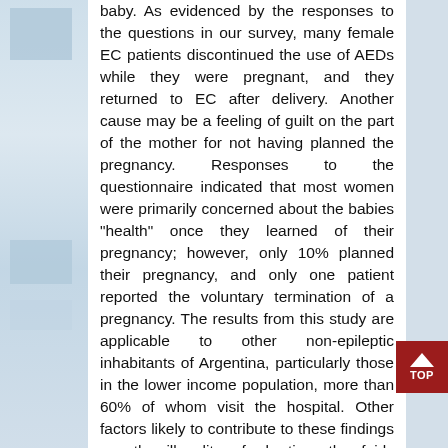baby. As evidenced by the responses to the questions in our survey, many female EC patients discontinued the use of AEDs while they were pregnant, and they returned to EC after delivery. Another cause may be a feeling of guilt on the part of the mother for not having planned the pregnancy. Responses to the questionnaire indicated that most women were primarily concerned about the babies "health" once they learned of their pregnancy; however, only 10% planned their pregnancy, and only one patient reported the voluntary termination of a pregnancy. The results from this study are applicable to other non-epileptic inhabitants of Argentina, particularly those in the lower income population, more than 60% of whom visit the hospital. Other factors likely to contribute to these findings are the illegality of abortion, the fairly recent implementation of family planning programs and fact that only a little more than half of the women talked to their neurologist and preconception